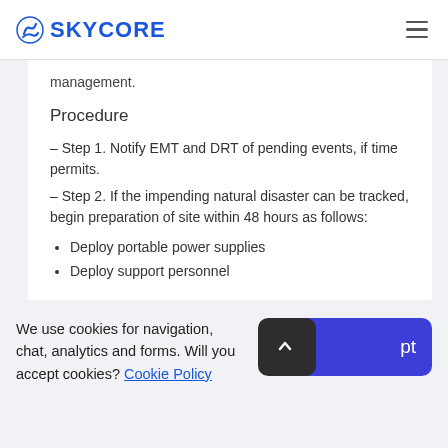SKYCORE
management.
Procedure
– Step 1. Notify EMT and DRT of pending events, if time permits.
– Step 2. If the impending natural disaster can be tracked, begin preparation of site within 48 hours as follows:
Deploy portable power supplies
Deploy support personnel
We use cookies for navigation, chat, analytics and forms. Will you accept cookies? Cookie Policy